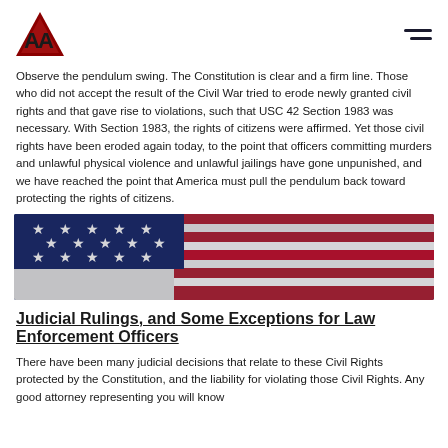[Logo: AA triangle icon] [hamburger menu]
Observe the pendulum swing. The Constitution is clear and a firm line. Those who did not accept the result of the Civil War tried to erode newly granted civil rights and that gave rise to violations, such that USC 42 Section 1983 was necessary. With Section 1983, the rights of citizens were affirmed. Yet those civil rights have been eroded again today, to the point that officers committing murders and unlawful physical violence and unlawful jailings have gone unpunished, and we have reached the point that America must pull the pendulum back toward protecting the rights of citizens.
[Figure (photo): Close-up photograph of an American flag showing stars and stripes in red, white, and blue.]
Judicial Rulings, and Some Exceptions for Law Enforcement Officers
There have been many judicial decisions that relate to these Civil Rights protected by the Constitution, and the liability for violating those Civil Rights. Any good attorney representing you will know